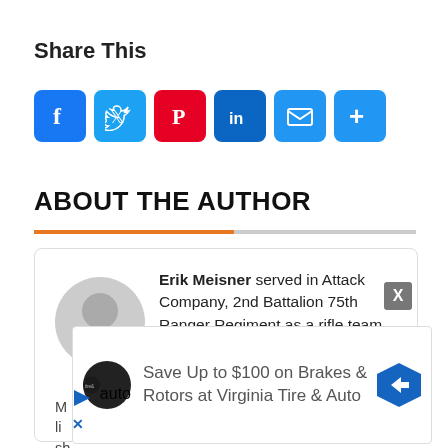Share This
[Figure (infographic): Social sharing icons: Facebook (blue), Twitter (blue), Pinterest (red), LinkedIn (blue), Email (blue), More/Plus (blue)]
ABOUT THE AUTHOR
Erik Meisner served in Attack Company, 2nd Battalion 75th Ranger Regiment as a rifle team leader with deployments to the...
[Figure (infographic): Advertisement overlay: Save Up to $100 on Brakes & Rotors at Virginia Tire & Auto]